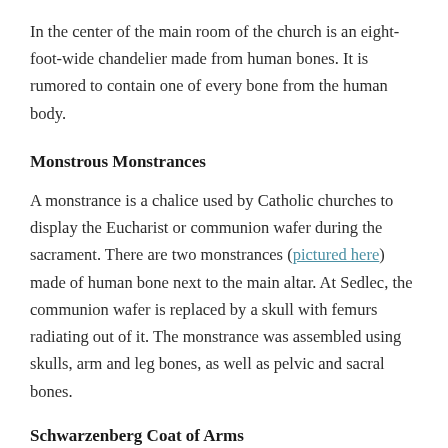In the center of the main room of the church is an eight-foot-wide chandelier made from human bones. It is rumored to contain one of every bone from the human body.
Monstrous Monstrances
A monstrance is a chalice used by Catholic churches to display the Eucharist or communion wafer during the sacrament. There are two monstrances (pictured here) made of human bone next to the main altar. At Sedlec, the communion wafer is replaced by a skull with femurs radiating out of it. The monstrance was assembled using skulls, arm and leg bones, as well as pelvic and sacral bones.
Schwarzenberg Coat of Arms
[Figure (photo): Image placeholder for Schwarzenberg Coat of Arms]